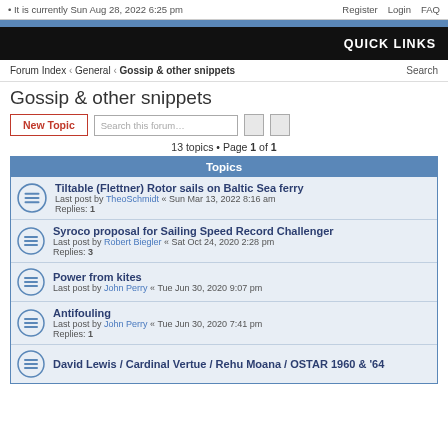• It is currently Sun Aug 28, 2022 6:25 pm   Register   Login   FAQ
QUICK LINKS
Forum Index ‹ General ‹ Gossip & other snippets   Search
Gossip & other snippets
New Topic   Search this forum…   13 topics • Page 1 of 1
| Topics |
| --- |
| Tiltable (Flettner) Rotor sails on Baltic Sea ferry
Last post by TheoSchmidt « Sun Mar 13, 2022 8:16 am
Replies: 1 |
| Syroco proposal for Sailing Speed Record Challenger
Last post by Robert Biegler « Sat Oct 24, 2020 2:28 pm
Replies: 3 |
| Power from kites
Last post by John Perry « Tue Jun 30, 2020 9:07 pm |
| Antifouling
Last post by John Perry « Tue Jun 30, 2020 7:41 pm
Replies: 1 |
| David Lewis / Cardinal Vertue / Rehu Moana / OSTAR 1960 & '64 |